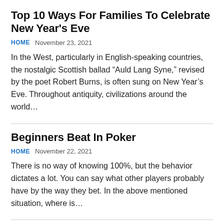Top 10 Ways For Families To Celebrate New Year's Eve
HOME   November 23, 2021
In the West, particularly in English-speaking countries, the nostalgic Scottish ballad “Auld Lang Syne,” revised by the poet Robert Burns, is often sung on New Year’s Eve. Throughout antiquity, civilizations around the world…
Beginners Beat In Poker
HOME   November 22, 2021
There is no way of knowing 100%, but the behavior dictates a lot. You can say what other players probably have by the way they bet. In the above mentioned situation, where is…
If Your Small Business Hires A Seo Specialist?
HOME   November 22, 2021